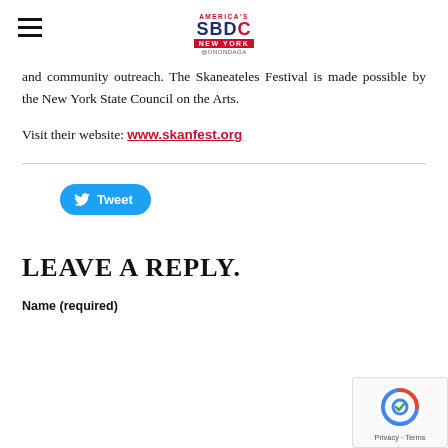America's SBDC New York @Onondaga
and community outreach. The Skaneateles Festival is made possible by the New York State Council on the Arts.
Visit their website: www.skanfest.org
[Figure (other): Tweet button with Twitter bird icon]
LEAVE A REPLY.
Name (required)